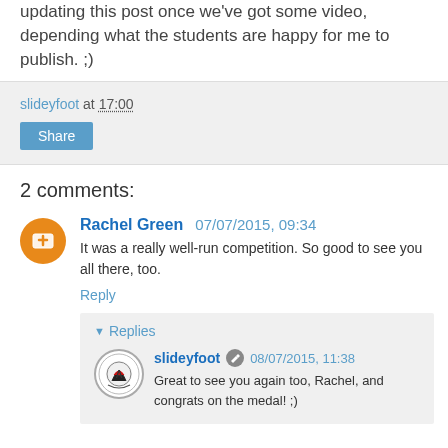updating this post once we've got some video, depending what the students are happy for me to publish. ;)
slideyfoot at 17:00
Share
2 comments:
Rachel Green 07/07/2015, 09:34
It was a really well-run competition. So good to see you all there, too.
Reply
Replies
slideyfoot 08/07/2015, 11:38
Great to see you again too, Rachel, and congrats on the medal! ;)